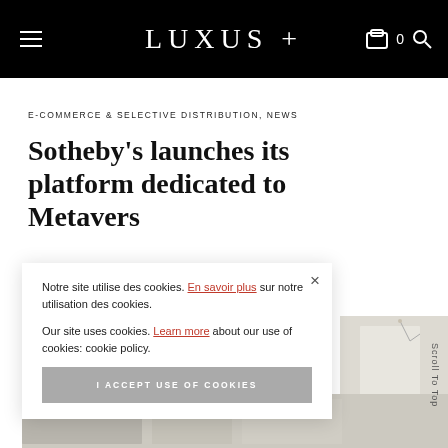LUXUS +
E-COMMERCE & SELECTIVE DISTRIBUTION, NEWS
Sotheby's launches its platform dedicated to Metavers
Notre site utilise des cookies. En savoir plus sur notre utilisation des cookies.

Our site uses cookies. Learn more about our use of cookies: cookie policy.

I ACCEPT USE OF COOKIES
[Figure (photo): Partial view of an interior/art scene visible behind the cookie banner on the right side]